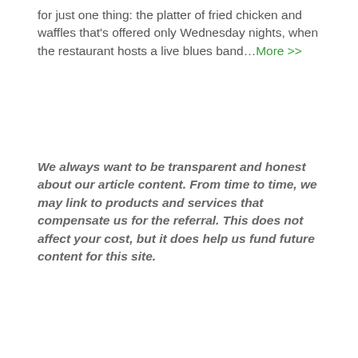for just one thing: the platter of fried chicken and waffles that's offered only Wednesday nights, when the restaurant hosts a live blues band…More >>
We always want to be transparent and honest about our article content. From time to time, we may link to products and services that compensate us for the referral. This does not affect your cost, but it does help us fund future content for this site.